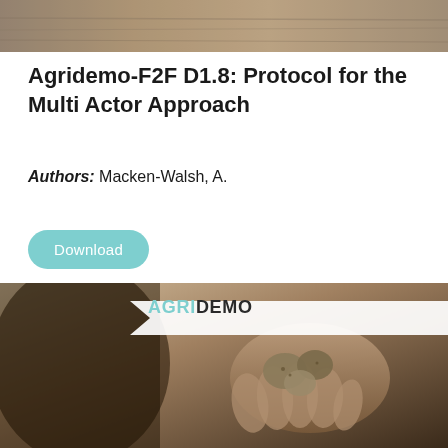[Figure (photo): Top banner image showing a field or agricultural scene in sepia/neutral tones]
Agridemo-F2F D1.8: Protocol for the Multi Actor Approach
Authors: Macken-Walsh, A.
Download
[Figure (photo): Bottom image showing a farmer's hands holding small potatoes or seeds, in sepia tones, with AGRIDEMO logo overlay]